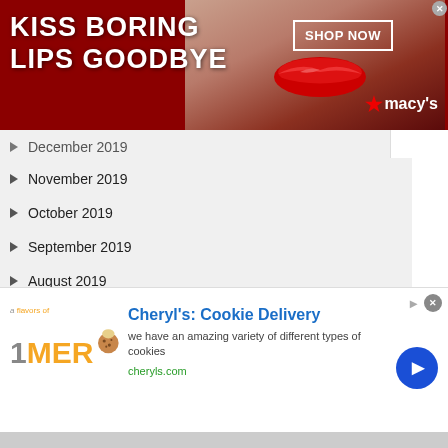[Figure (screenshot): Macy's advertisement banner: red background with woman's face/lips photo, text 'KISS BORING LIPS GOODBYE', 'SHOP NOW' button, Macy's star logo]
December 2019
November 2019
October 2019
September 2019
August 2019
July 2019
June 2019
May 2019
April 2019
March 2019
[Figure (screenshot): Cheryl's Cookie Delivery advertisement: logo with '1MER', cookie image, title 'Cheryl's: Cookie Delivery', description 'we have an amazing variety of different types of cookies', URL 'cheryls.com', blue circular arrow button]